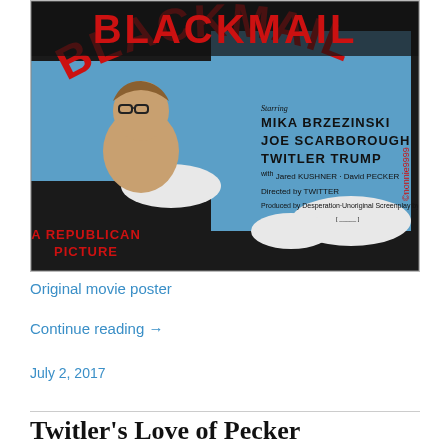[Figure (illustration): A satirical movie poster styled after vintage film posters. Black background with large red text 'BLACKMAIL' arched at top. Bottom left reads 'A REPUBLICAN PICTURE' in red. Center and right portion: Starring MIKA BRZEZINSKI, JOE SCARBOROUGH, TWITLER TRUMP, with Jared KUSHNER, David PECKER, Directed by TWITTER, Produced by Desperation - Unoriginal Screenplay by TWITLER. A man with glasses looks upward on the left side. Watermark: ©nonnie9999 in red vertical text on right edge.]
Original movie poster
Continue reading →
July 2, 2017
Twitler's Love of Pecker